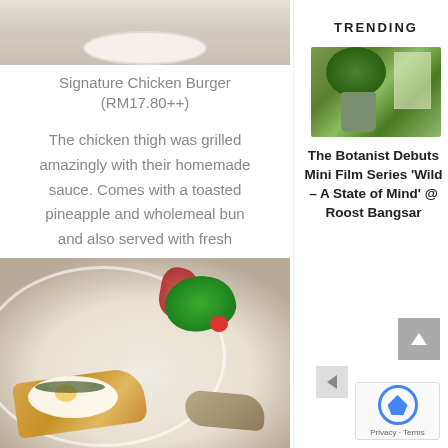[Figure (photo): Top portion of a plate/bowl, white ceramic, cropped at top of page]
Signature Chicken Burger (RM17.80++)
The chicken thigh was grilled amazingly with their homemade sauce. Comes with a toasted pineapple and wholemeal bun and also served with fresh garden salad.
[Figure (photo): Food plate photo: toast with egg, garden salad with green and red leaves, tomatoes, mushrooms, served on a white plate on a wooden surface]
TRENDING
[Figure (photo): Trending article thumbnail: plants in green pots near a window, indoor botanist-style setting]
The Botanist Debuts Mini Film Series 'Wild – A State of Mind' @ Roost Bangsar